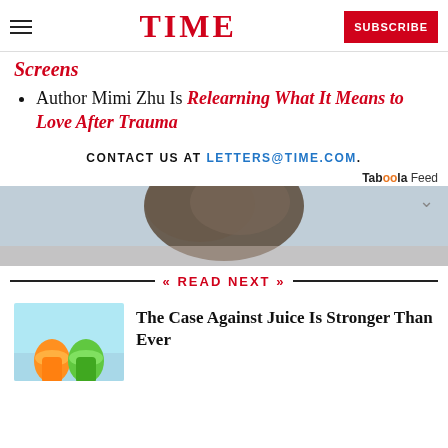TIME | SUBSCRIBE
Screens
Author Mimi Zhu Is Relearning What It Means to Love After Trauma
CONTACT US AT LETTERS@TIME.COM.
Taboola Feed
[Figure (photo): Back of person's head with gray/dark hair against blurred background]
READ NEXT
[Figure (photo): Two juice glasses being held up, orange and green juice on light blue background]
The Case Against Juice Is Stronger Than Ever